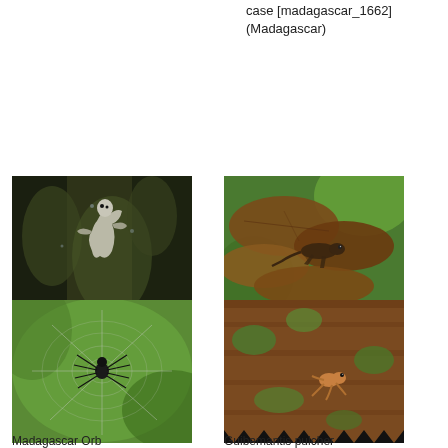case [madagascar_1662] (Madagascar)
[Figure (photo): Diademed Sifaka (Propithecus diadema) clinging to a mossy tree trunk in a dark forest]
Diademed Sifaka (Propithecus diadema) [madagascar_0869] (Madagascar)
[Figure (photo): Ebenavia inunguis gecko resting in the litter of a bird-nest fern among dry brown leaves with green background]
Ebenavia inunguis gecko in the litter of a bird-nest fern [madagascar_0713] (Madagascar)
[Figure (photo): Madagascar Orb Weaving Spider on its web with blurred green background]
Madagascar Orb Weaving Spider
[Figure (photo): Guibemantis pulcher frog on a wooden plank surface viewed from above]
Guibemantis pulcher (Madagascar)